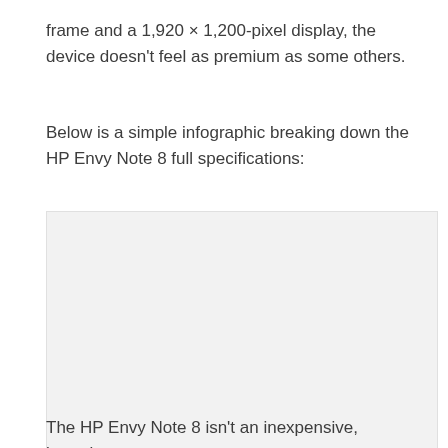frame and a 1,920 × 1,200-pixel display, the device doesn't feel as premium as some others.
Below is a simple infographic breaking down the HP Envy Note 8 full specifications:
[Figure (infographic): A light gray rectangular placeholder box representing an infographic about HP Envy Note 8 full specifications.]
The HP Envy Note 8 isn't an inexpensive, bargain